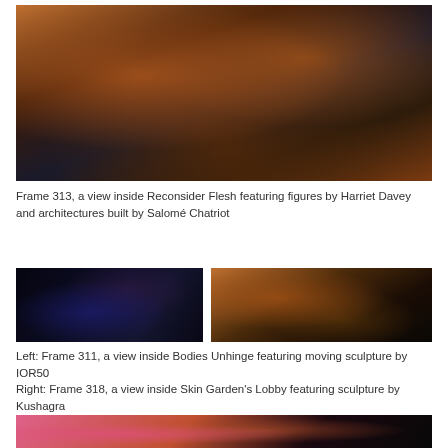[Figure (photo): Frame 313: a view inside Reconsider Flesh featuring abstract organic figures in warm orange and dark tones, with curving flame-like shapes against dark background]
Frame 313, a view inside Reconsider Flesh featuring figures by Harriet Davey and architectures built by Salomé Chatriot
[Figure (photo): Frame 311: a view inside Bodies Unhinge featuring moving sculpture by IOR50, dark blue tones with a figure silhouette]
[Figure (photo): Frame 318: a view inside Skin Garden's Lobby featuring sculpture by Kushagra, warm orange tones with close-up organic forms]
Left: Frame 311, a view inside Bodies Unhinge featuring moving sculpture by IOR50
Right: Frame 318, a view inside Skin Garden's Lobby featuring sculpture by Kushagra
[Figure (photo): Another frame showing pink and orange organic sculptural forms in a dark environment]